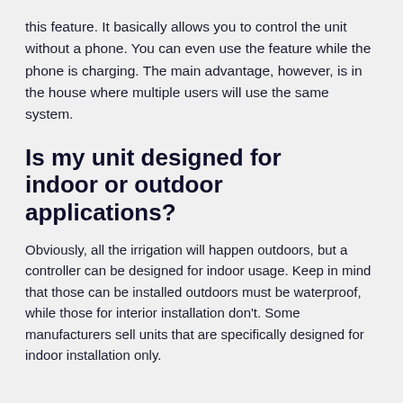this feature. It basically allows you to control the unit without a phone. You can even use the feature while the phone is charging. The main advantage, however, is in the house where multiple users will use the same system.
Is my unit designed for indoor or outdoor applications?
Obviously, all the irrigation will happen outdoors, but a controller can be designed for indoor usage. Keep in mind that those can be installed outdoors must be waterproof, while those for interior installation don't. Some manufacturers sell units that are specifically designed for indoor installation only.